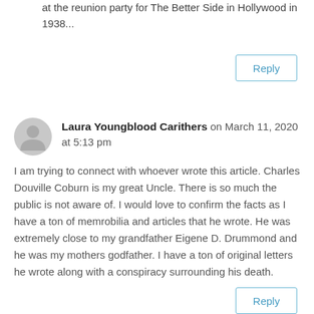at the reunion party for The Better Side in Hollywood in 1938...
Reply
Laura Youngblood Carithers on March 11, 2020 at 5:13 pm
I am trying to connect with whoever wrote this article. Charles Douville Coburn is my great Uncle. There is so much the public is not aware of. I would love to confirm the facts as I have a ton of memrobilia and articles that he wrote. He was extremely close to my grandfather Eigene D. Drummond and he was my mothers godfather. I have a ton of original letters he wrote along with a conspiracy surrounding his death.
Reply